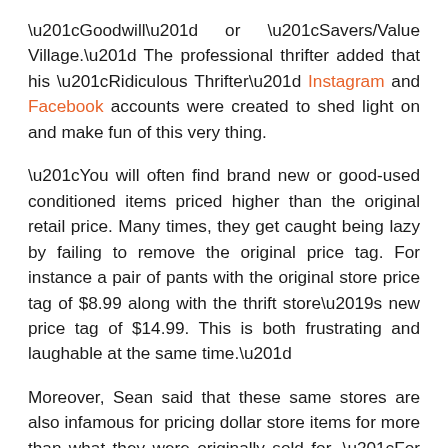“Goodwill” or “Savers/Value Village.” The professional thrifter added that his “Ridiculous Thrifter” Instagram and Facebook accounts were created to shed light on and make fun of this very thing.
“You will often find brand new or good-used conditioned items priced higher than the original retail price. Many times, they get caught being lazy by failing to remove the original price tag. For instance a pair of pants with the original store price tag of $8.99 along with the thrift store’s new price tag of $14.99. This is both frustrating and laughable at the same time.”
Moreover, Sean said that these same stores are also infamous for pricing dollar store items for more than what they were originally sold for. “For example a $1.99 “Dollar Tree” cheese grater priced for $4.99 at “Value Village” with the original “Dollar Tree” price still attached to the item